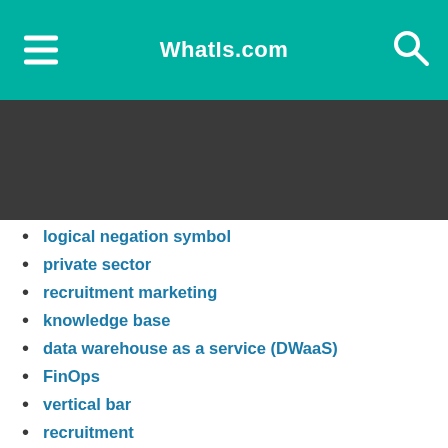WhatIs.com
logical negation symbol
private sector
recruitment marketing
knowledge base
data warehouse as a service (DWaaS)
FinOps
vertical bar
recruitment
GPS coordinates
recruitment management system
database as a service (DBaaS)
distributed computing